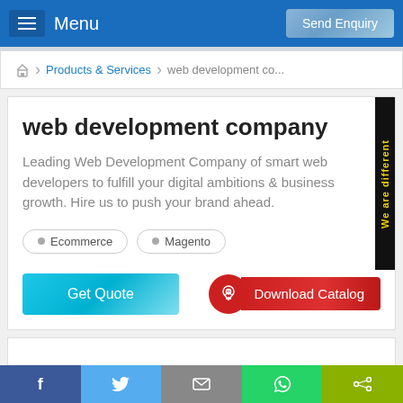Menu | Send Enquiry
Products & Services > web development co...
web development company
Leading Web Development Company of smart web developers to fulfill your digital ambitions & business growth. Hire us to push your brand ahead.
Ecommerce
Magento
Get Quote
Download Catalog
[Figure (screenshot): Side banner with 'We are different' text rotated vertically on dark background with yellow text]
f | Twitter | Mail | WhatsApp | Share